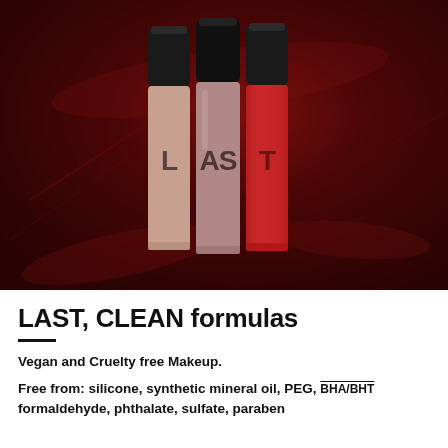[Figure (photo): Three liquid lipstick bottles with black caps branded 'LAST', arranged side by side on a deep dark red background with lip color smear texture. Left and center bottles are mauve/nude, right bottle is red.]
LAST, CLEAN formulas
Vegan and Cruelty free Makeup.
Free from: silicone, synthetic mineral oil, PEG, BHA/BHT formaldehyde, phthalate, sulfate, paraben